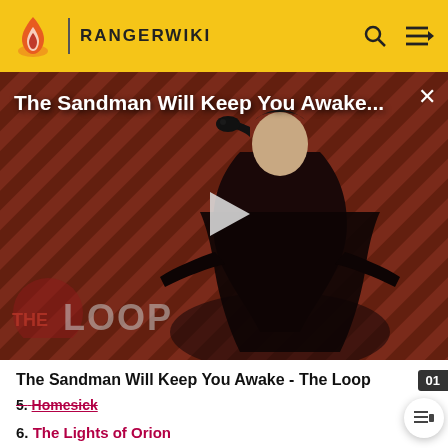RANGERWIKI
[Figure (screenshot): Video thumbnail showing The Sandman Will Keep You Awake - The Loop, featuring a dark-clad figure with a raven against a diagonal striped red/brown background, with THE LOOP watermark and a play button overlay]
The Sandman Will Keep You Awake - The Loop
5. Homesick
6. The Lights of Orion
7. Double Duty
8. The Blue Crush